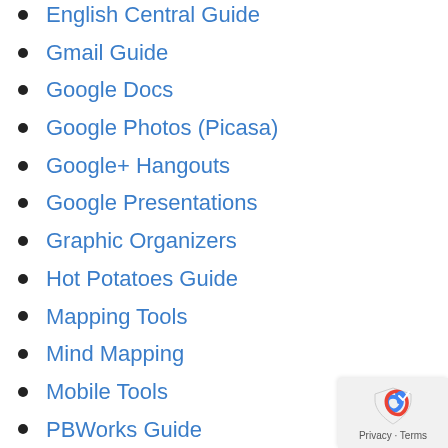English Central Guide
Gmail Guide
Google Docs
Google Photos (Picasa)
Google+ Hangouts
Google Presentations
Graphic Organizers
Hot Potatoes Guide
Mapping Tools
Mind Mapping
Mobile Tools
PBWorks Guide
Photo Editing (irfanview)
Presentations Guide
Reading Resources
Site Building Tools
Skype Guide
Social Networking